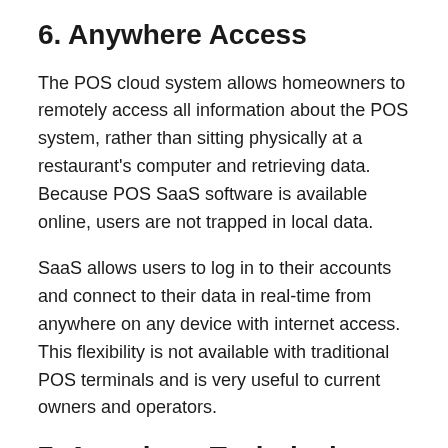6. Anywhere Access
The POS cloud system allows homeowners to remotely access all information about the POS system, rather than sitting physically at a restaurant's computer and retrieving data. Because POS SaaS software is available online, users are not trapped in local data.
SaaS allows users to log in to their accounts and connect to their data in real-time from anywhere on any device with internet access. This flexibility is not available with traditional POS terminals and is very useful to current owners and operators.
7. Anywhere Technical Support